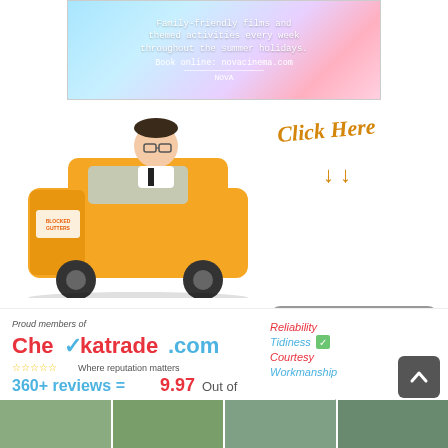[Figure (advertisement): Nova Cinema banner advertisement with rainbow gradient background, monospace text reading 'Family-friendly films and themed activities every week throughout the summer holidays. Book online: novacinema.com NOVA']
[Figure (advertisement): Blocked Gutters advertisement showing a cartoon man poking out of an orange van with 'Click Here' handwritten text and arrows pointing down to a speech bubble badge reading 'READ OUR CUSTOMER REVIEWS' with 5 gold stars]
[Figure (advertisement): Checkatrade.com advertisement: 'Proud members of Checkatrade.com, Where reputation matters, 360+ reviews = 9.97 Out of' with star rating, and quality values: Reliability, Tidiness, Courtesy, Workmanship with checkmark]
[Figure (photo): Row of four small thumbnail photos at the bottom of the page]
[Figure (other): Dark grey scroll-to-top button with upward chevron arrow in bottom right corner]